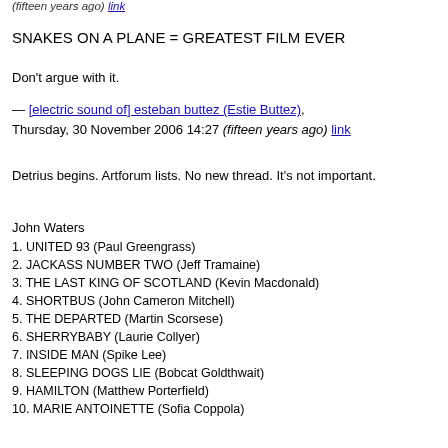(fifteen years ago) link
SNAKES ON A PLANE = GREATEST FILM EVER
Don't argue with it.
— [electric sound of] esteban buttez (Estie Buttez), Thursday, 30 November 2006 14:27 (fifteen years ago) link
Detrius begins. Artforum lists. No new thread. It's not important.
John Waters
1. UNITED 93 (Paul Greengrass)
2. JACKASS NUMBER TWO (Jeff Tramaine)
3. THE LAST KING OF SCOTLAND (Kevin Macdonald)
4. SHORTBUS (John Cameron Mitchell)
5. THE DEPARTED (Martin Scorsese)
6. SHERRYBABY (Laurie Collyer)
7. INSIDE MAN (Spike Lee)
8. SLEEPING DOGS LIE (Bobcat Goldthwait)
9. HAMILTON (Matthew Porterfield)
10. MARIE ANTOINETTE (Sofia Coppola)